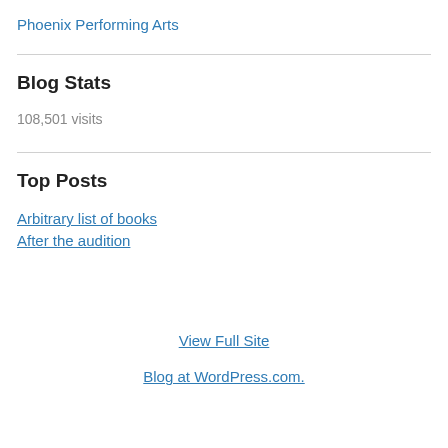Phoenix Performing Arts
Blog Stats
108,501 visits
Top Posts
Arbitrary list of books
After the audition
View Full Site
Blog at WordPress.com.